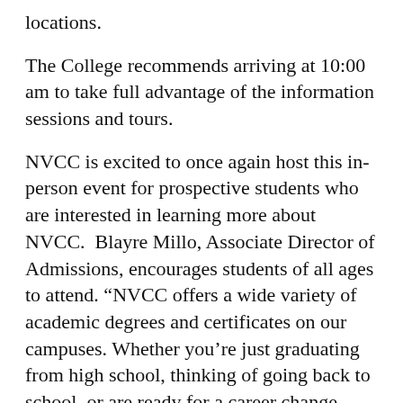locations.
The College recommends arriving at 10:00 am to take full advantage of the information sessions and tours.
NVCC is excited to once again host this in-person event for prospective students who are interested in learning more about NVCC.  Blayre Millo, Associate Director of Admissions, encourages students of all ages to attend. “NVCC offers a wide variety of academic degrees and certificates on our campuses. Whether you’re just graduating from high school, thinking of going back to school, or are ready for a career change, come check out the opportunities available to you at NVCC!”